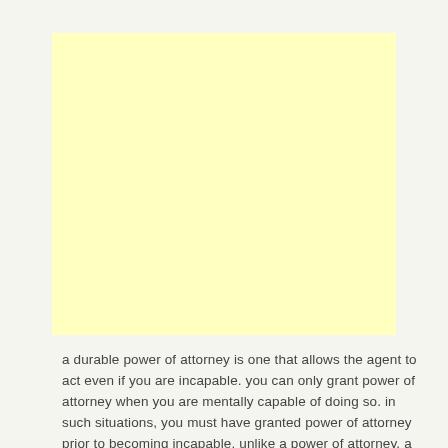[Figure (other): A blank yellow/cream colored rectangular box, likely a placeholder for an image or diagram.]
a durable power of attorney is one that allows the agent to act even if you are incapable. you can only grant power of attorney when you are mentally capable of doing so. in such situations, you must have granted power of attorney prior to becoming incapable. unlike a power of attorney, a living will